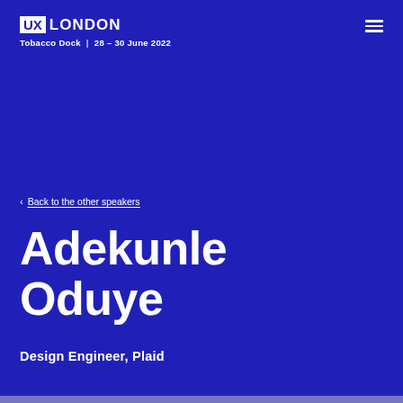UX LONDON — Tobacco Dock | 28 – 30 June 2022
‹ Back to the other speakers
Adekunle Oduye
Design Engineer, Plaid